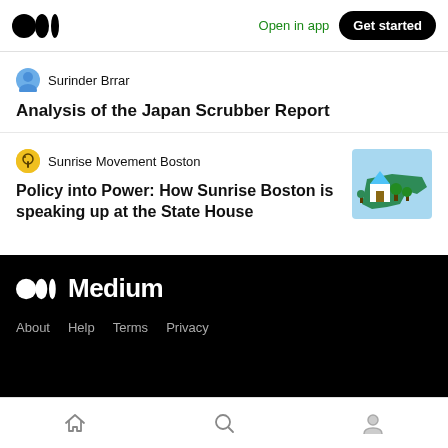Medium app header with logo, Open in app, Get started
Surinder Brrar
Analysis of the Japan Scrubber Report
Sunrise Movement Boston
Policy into Power: How Sunrise Boston is speaking up at the State House
[Figure (illustration): Illustration of Massachusetts state with a house and trees, for Sunrise Movement Boston article]
Medium logo, About, Help, Terms, Privacy
Bottom navigation bar with home, search, and profile icons